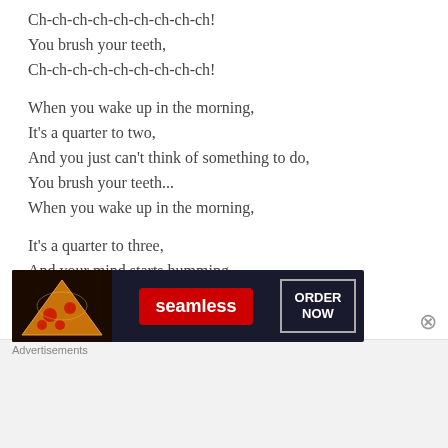Ch-ch-ch-ch-ch-ch-ch-ch-ch!
You brush your teeth,
Ch-ch-ch-ch-ch-ch-ch-ch-ch!
When you wake up in the morning,
It's a quarter to two,
And you just can't think of something to do,
You brush your teeth...
When you wake up in the morning,
It's a quarter to three,
And your mind starts humming,
“Fiddle-dee-dee,”...
When you wake up in the morning,
It's a quarter to four,
[Figure (other): Seamless food delivery advertisement banner with pizza image, Seamless logo in red, and ORDER NOW button]